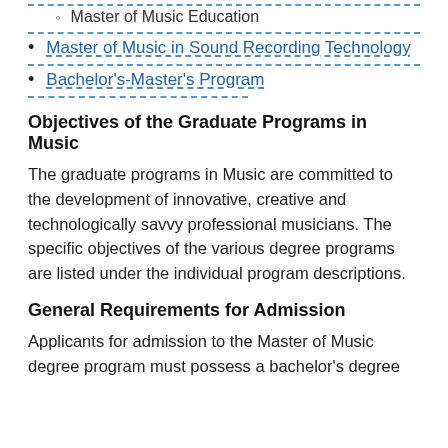Master of Music Education
Master of Music in Sound Recording Technology
Bachelor's-Master's Program
Objectives of the Graduate Programs in Music
The graduate programs in Music are committed to the development of innovative, creative and technologically savvy professional musicians. The specific objectives of the various degree programs are listed under the individual program descriptions.
General Requirements for Admission
Applicants for admission to the Master of Music degree program must possess a bachelor's degree